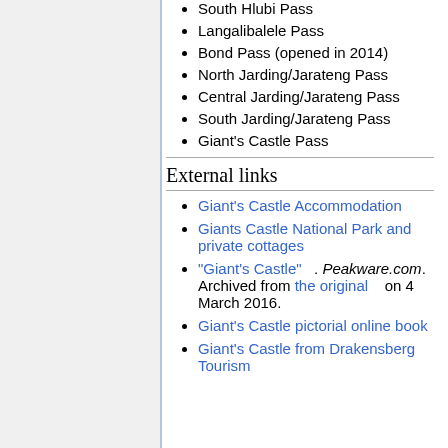South Hlubi Pass
Langalibalele Pass
Bond Pass (opened in 2014)
North Jarding/Jarateng Pass
Central Jarding/Jarateng Pass
South Jarding/Jarateng Pass
Giant's Castle Pass
External links
Giant's Castle Accommodation
Giants Castle National Park and private cottages
"Giant's Castle" . Peakware.com. Archived from the original on 4 March 2016.
Giant's Castle pictorial online book
Giant's Castle from Drakensberg Tourism